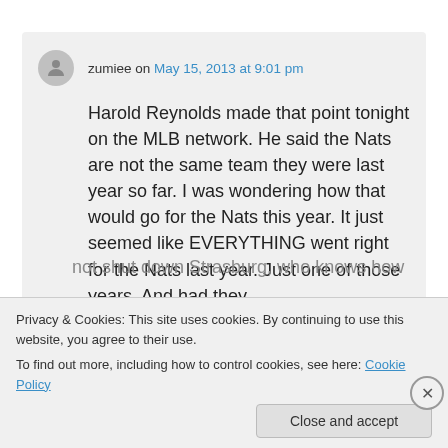zumiee on May 15, 2013 at 9:01 pm
Harold Reynolds made that point tonight on the MLB network. He said the Nats are not the same team they were last year so far. I was wondering how that would go for the Nats this year. It just seemed like EVERYTHING went right for the Nats last year. Just one of those years. And had they not shut down Strasburg, who knows how
Privacy & Cookies: This site uses cookies. By continuing to use this website, you agree to their use.
To find out more, including how to control cookies, see here: Cookie Policy
Close and accept